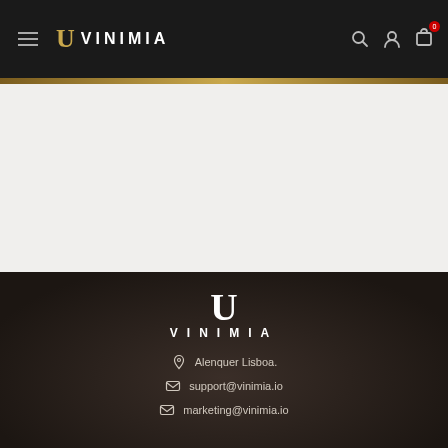VINIMIA — navigation header with menu, logo, search, account, cart icons
[Figure (screenshot): Empty light gray content area below header]
[Figure (logo): Vinimia footer logo — U symbol above VINIMIA text]
Alenquer Lisboa.
support@vinimia.io
marketing@vinimia.io